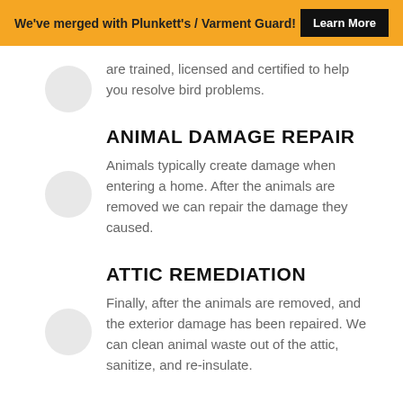We've merged with Plunkett's / Varment Guard! Learn More
are trained, licensed and certified to help you resolve bird problems.
ANIMAL DAMAGE REPAIR
Animals typically create damage when entering a home. After the animals are removed we can repair the damage they caused.
ATTIC REMEDIATION
Finally, after the animals are removed, and the exterior damage has been repaired. We can clean animal waste out of the attic, sanitize, and re-insulate.